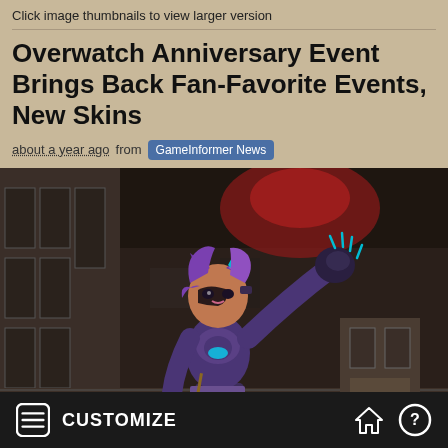Click image thumbnails to view larger version
Overwatch Anniversary Event Brings Back Fan-Favorite Events, New Skins
about a year ago from GameInformer News
[Figure (photo): Overwatch character in purple cat-themed skin standing in an industrial warehouse setting, posing with one hand raised.]
CUSTOMIZE